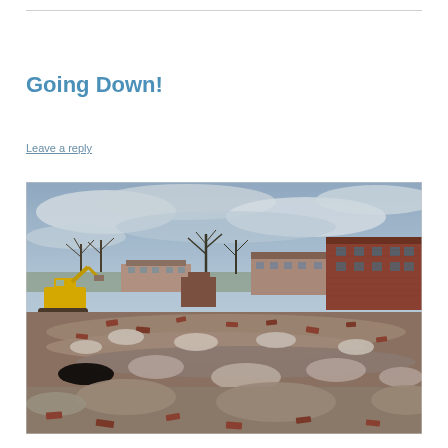Going Down!
Leave a reply
[Figure (photo): Demolition site showing brick terraced houses partially demolished, with a yellow excavator on the left, rubble covering the foreground, bare trees in the background, and remaining red-brick row houses on the right side, under a grey overcast sky.]